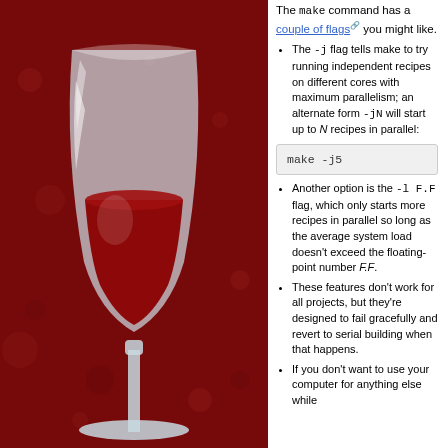[Figure (illustration): Wine glass logo with red wine on a dark red background with decorative elements]
The make command has a couple of flags you might like.
The -j flag tells make to try running independent recipes on different cores with maximum parallelism; an alternate form -jN will start up to N recipes in parallel:
Another option is the -l F.F flag, which only starts more recipes in parallel so long as the average system load doesn't exceed the floating-point number F.F.
These features don't work for all projects, but they're designed to fail gracefully and revert to serial building when that happens.
If you don't want to use your computer for anything else while